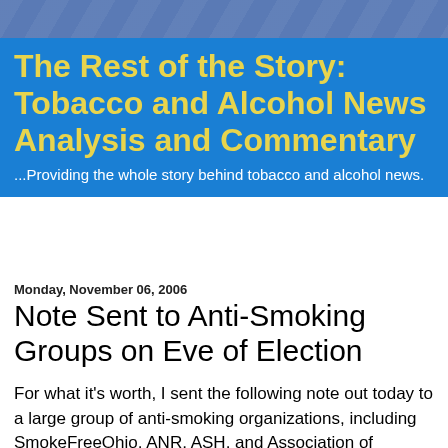The Rest of the Story: Tobacco and Alcohol News Analysis and Commentary
...Providing the whole story behind tobacco and alcohol news.
Monday, November 06, 2006
Note Sent to Anti-Smoking Groups on Eve of Election
For what it's worth, I sent the following note out today to a large group of anti-smoking organizations, including SmokeFreeOhio, ANR, ASH, and Association of Nonsmokers-Minnesota. Most likely, I'll just be attacked, but at least it's an attempt to try to retain some scientific integrity in the movement. Most important, my conscience does not